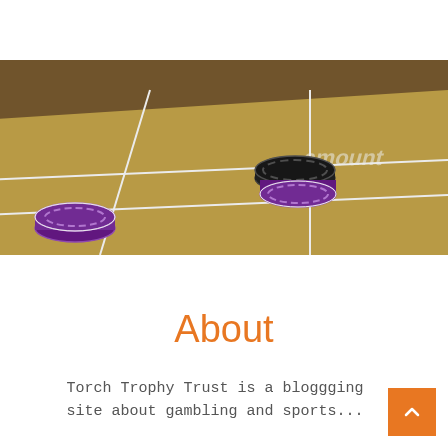[Figure (photo): Close-up photo of a casino/gambling table (tan/yellow felt) with white line markings, purple and black poker chips placed on the surface. Background is blurred dark brown. The word 'amount' or similar text is partially visible on the felt in white.]
About
Torch Trophy Trust is a bloggging site about gambling and sports...